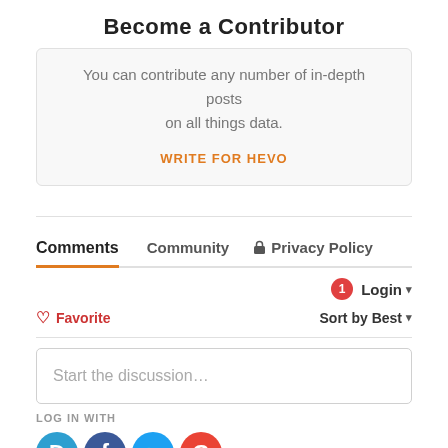Become a Contributor
You can contribute any number of in-depth posts on all things data.
WRITE FOR HEVO
Comments
Community
Privacy Policy
1 Login
Favorite
Sort by Best
Start the discussion...
LOG IN WITH
[Figure (illustration): Social login icons: Disqus (blue), Facebook (blue), Twitter (cyan), Google (red)]